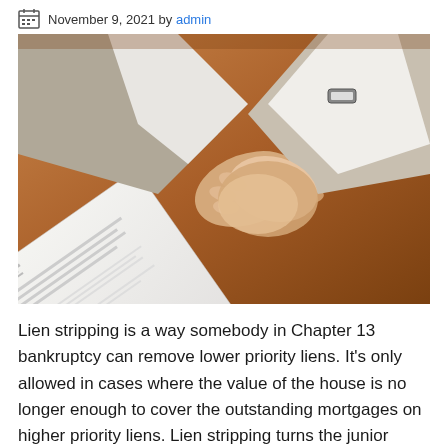November 9, 2021 by admin
[Figure (photo): Two people shaking hands over a desk with a bankruptcy document visible on the table. One person is wearing a suit jacket, the other has a watch visible on their wrist.]
Lien stripping is a way somebody in Chapter 13 bankruptcy can remove lower priority liens. It's only allowed in cases where the value of the house is no longer enough to cover the outstanding mortgages on higher priority liens. Lien stripping turns the junior mortgage into